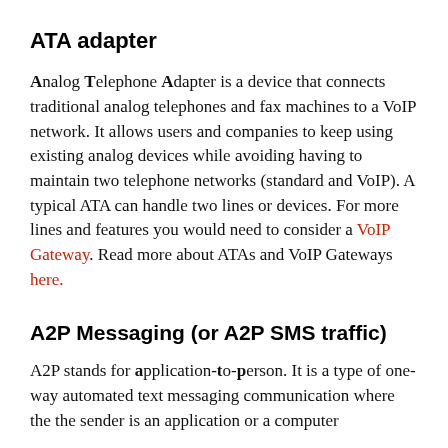ATA adapter
Analog Telephone Adapter is a device that connects traditional analog telephones and fax machines to a VoIP network. It allows users and companies to keep using existing analog devices while avoiding having to maintain two telephone networks (standard and VoIP). A typical ATA can handle two lines or devices. For more lines and features you would need to consider a VoIP Gateway. Read more about ATAs and VoIP Gateways here.
A2P Messaging (or A2P SMS traffic)
A2P stands for application-to-person. It is a type of one-way automated text messaging communication where the the sender is an application or a computer